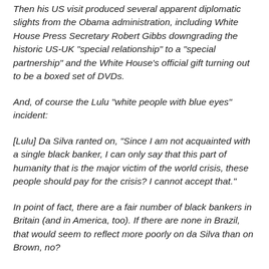Then his US visit produced several apparent diplomatic slights from the Obama administration, including White House Press Secretary Robert Gibbs downgrading the historic US-UK "special relationship" to a "special partnership" and the White House's official gift turning out to be a boxed set of DVDs.
And, of course the Lulu "white people with blue eyes" incident:
[Lulu] Da Silva ranted on, "Since I am not acquainted with a single black banker, I can only say that this part of humanity that is the major victim of the world crisis, these people should pay for the crisis? I cannot accept that."
In point of fact, there are a fair number of black bankers in Britain (and in America, too). If there are none in Brazil, that would seem to reflect more poorly on da Silva than on Brown, no?
Actually, da Silva is a socialist nutcase reminiscent of Hugo Chavez. Nobody should be surprised by such inflammatory